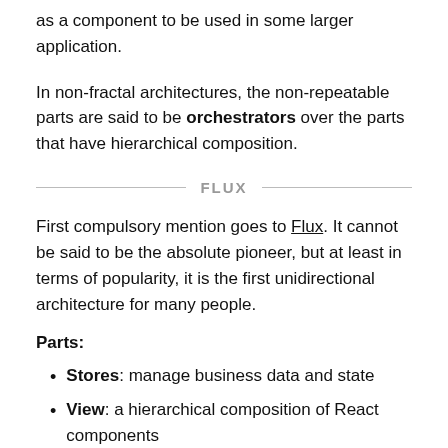as a component to be used in some larger application.
In non-fractal architectures, the non-repeatable parts are said to be orchestrators over the parts that have hierarchical composition.
FLUX
First compulsory mention goes to Flux. It cannot be said to be the absolute pioneer, but at least in terms of popularity, it is the first unidirectional architecture for many people.
Parts:
Stores: manage business data and state
View: a hierarchical composition of React components
Actions: events created from user events that